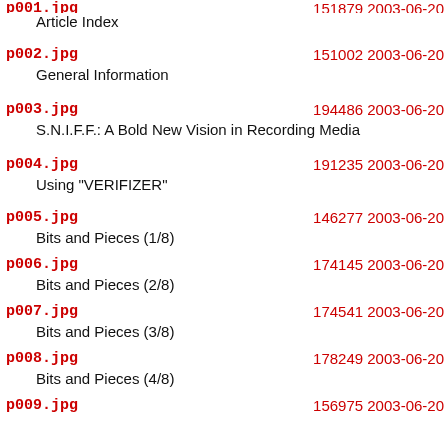p001.jpg  Article Index  151879 2003-06-20
p002.jpg  General Information  151002 2003-06-20
p003.jpg  S.N.I.F.F.: A Bold New Vision in Recording Media  194486 2003-06-20
p004.jpg  Using "VERIFIZER"  191235 2003-06-20
p005.jpg  Bits and Pieces (1/8)  146277 2003-06-20
p006.jpg  Bits and Pieces (2/8)  174145 2003-06-20
p007.jpg  Bits and Pieces (3/8)  174541 2003-06-20
p008.jpg  Bits and Pieces (4/8)  178249 2003-06-20
p009.jpg  Bits and Pieces (5/8)  156975 2003-06-20
p010.jpg  Bits and Pieces (6/8)  171768 2003-06-20
p011.jpg  Bits and Pieces (7/8)  189784 2003-06-20
p012.jpg  Bits and Pieces (8/8)  173800 2003-06-20
p013.jpg  201779 2003-06-20